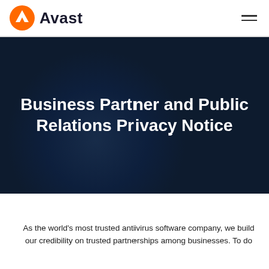Avast
Business Partner and Public Relations Privacy Notice
As the world's most trusted antivirus software company, we build our credibility on trusted partnerships among businesses. To do